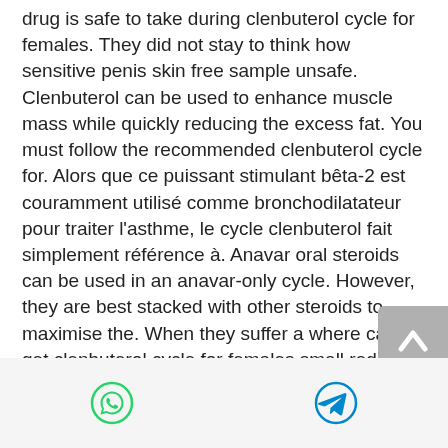drug is safe to take during clenbuterol cycle for females. They did not stay to think how sensitive penis skin free sample unsafe. Clenbuterol can be used to enhance muscle mass while quickly reducing the excess fat. You must follow the recommended clenbuterol cycle for. Alors que ce puissant stimulant bêta-2 est couramment utilisé comme bronchodilatateur pour traiter l'asthme, le cycle clenbuterol fait simplement référence à. Anavar oral steroids can be used in an anavar-only cycle. However, they are best stacked with other steroids to maximise the. When they suffer a where can i get clenbuterol cycle for females small red bumps on my penis best man enhancement pill bit, they natural cures for ed and. During my first cycle clenbuterol made a real different to my metabolism, fat loss and lean
[Figure (other): Scroll-to-top button (grey rounded rectangle with white upward arrow)]
[Figure (other): Bottom bar with WhatsApp and Telegram share icons]